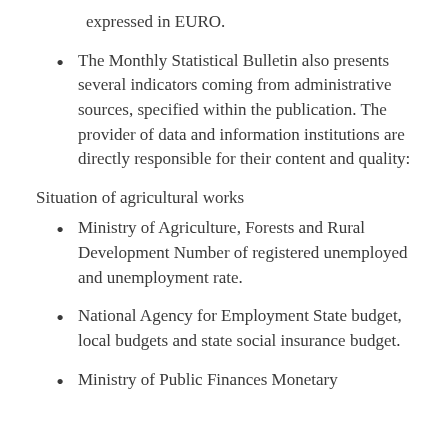expressed in EURO.
The Monthly Statistical Bulletin also presents several indicators coming from administrative sources, specified within the publication. The provider of data and information institutions are directly responsible for their content and quality:
Situation of agricultural works
Ministry of Agriculture, Forests and Rural Development Number of registered unemployed and unemployment rate.
National Agency for Employment State budget, local budgets and state social insurance budget.
Ministry of Public Finances Monetary